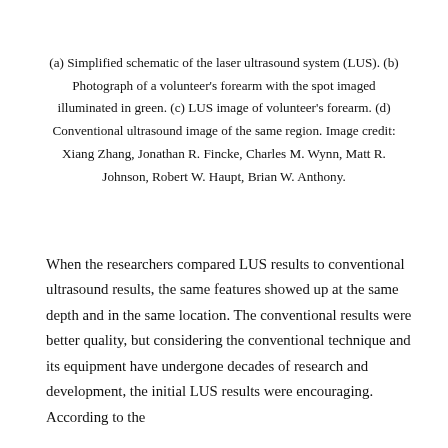(a) Simplified schematic of the laser ultrasound system (LUS). (b) Photograph of a volunteer's forearm with the spot imaged illuminated in green. (c) LUS image of volunteer's forearm. (d) Conventional ultrasound image of the same region. Image credit: Xiang Zhang, Jonathan R. Fincke, Charles M. Wynn, Matt R. Johnson, Robert W. Haupt, Brian W. Anthony.
When the researchers compared LUS results to conventional ultrasound results, the same features showed up at the same depth and in the same location. The conventional results were better quality, but considering the conventional technique and its equipment have undergone decades of research and development, the initial LUS results were encouraging. According to the